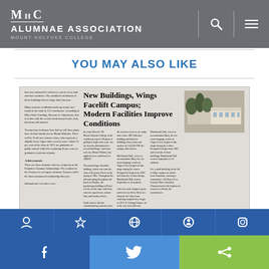MHC ALUMNAE ASSOCIATION MOUNT HOLYOKE COLLEGE
YOU MAY ALSO LIKE
[Figure (photo): Newspaper clipping with headline 'New Buildings, Wings Facelift Campus; Modern Facilities Improve Conditions' showing columns of text and a photo of a modern building on campus.]
Social sharing footer with Facebook, Twitter, and share icons